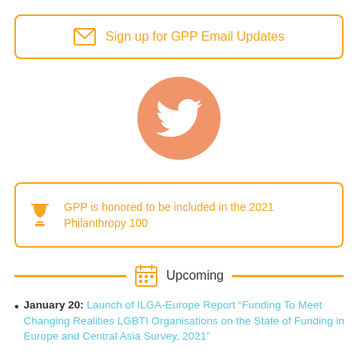Sign up for GPP Email Updates
[Figure (illustration): Twitter bird icon in an orange circle]
GPP is honored to be included in the 2021 Philanthropy 100
Upcoming
January 20: Launch of ILGA-Europe Report “Funding To Meet Changing Realities LGBTI Organisations on the State of Funding in Europe and Central Asia Survey, 2021”